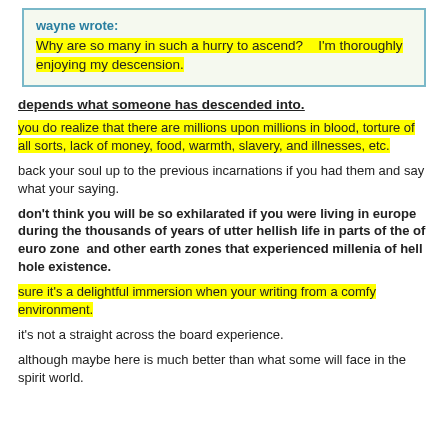wayne wrote: Why are so many in such a hurry to ascend?    I'm thoroughly enjoying my descension.
depends what someone has descended into.
you do realize that there are millions upon millions in blood, torture of all sorts, lack of money, food, warmth, slavery, and illnesses, etc.
back your soul up to the previous incarnations if you had them and say what your saying.
don't think you will be so exhilarated if you were living in europe during the thousands of years of utter hellish life in parts of the of euro zone  and other earth zones that experienced millenia of hell hole existence.
sure it's a delightful immersion when your writing from a comfy environment.
it's not a straight across the board experience.
although maybe here is much better than what some will face in the spirit world.